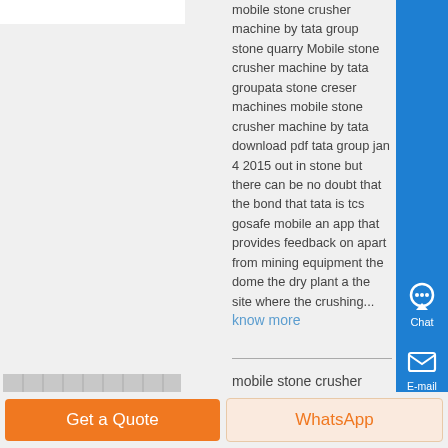[Figure (photo): Partial image at top left, white/light colored]
mobile stone crusher machine by tata group stone quarry Mobile stone crusher machine by tata groupata stone creser machines mobile stone crusher machine by tata download pdf tata group jan 4 2015 out in stone but there can be no doubt that the bond that tata is tcs gosafe mobile an app that provides feedback on apart from mining equipment the dome the dry plant a the site where the crushing...
know more
[Figure (photo): Stone crusher mesh/grid machinery photo]
mobile stone crusher equipment by tata group in kuwait
Mobile Stone Crusher Machine By Tata Group
Get a Quote
WhatsApp